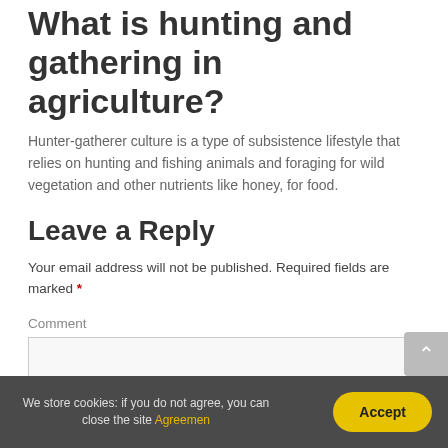What is hunting and gathering in agriculture?
Hunter-gatherer culture is a type of subsistence lifestyle that relies on hunting and fishing animals and foraging for wild vegetation and other nutrients like honey, for food.
Leave a Reply
Your email address will not be published. Required fields are marked *
Comment
We store cookies: if you do not agree, you can close the site Agreemen